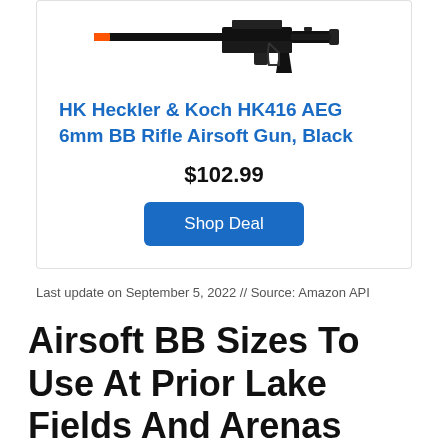[Figure (photo): Product image of HK416 airsoft rifle, black, shown from the side against white background]
HK Heckler & Koch HK416 AEG 6mm BB Rifle Airsoft Gun, Black
$102.99
Shop Deal
Last update on September 5, 2022 // Source: Amazon API
Airsoft BB Sizes To Use At Prior Lake Fields And Arenas